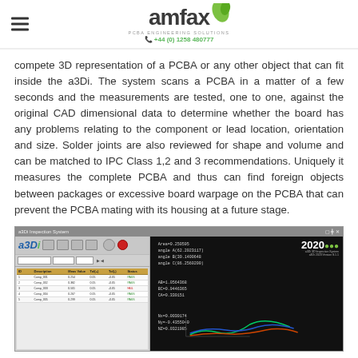amfax | PCBA ENGINEERING SOLUTIONS | +44 (0) 1258 480777
compete 3D representation of a PCBA or any other object that can fit inside the a3Di. The system scans a PCBA in a matter of a few seconds and the measurements are tested, one to one, against the original CAD dimensional data to determine whether the board has any problems relating to the component or lead location, orientation and size. Solder joints are also reviewed for shape and volume and can be matched to IPC Class 1,2 and 3 recommendations. Uniquely it measures the complete PCBA and thus can find foreign objects between packages or excessive board warpage on the PCBA that can prevent the PCBA mating with its housing at a future stage.
[Figure (screenshot): Screenshot of the a3Di software interface showing a 3D inspection system with a data table on the left panel and measurement analysis results on the right dark panel including area, angle, and coordinate data. The software branding shows '2020' in the top right corner.]